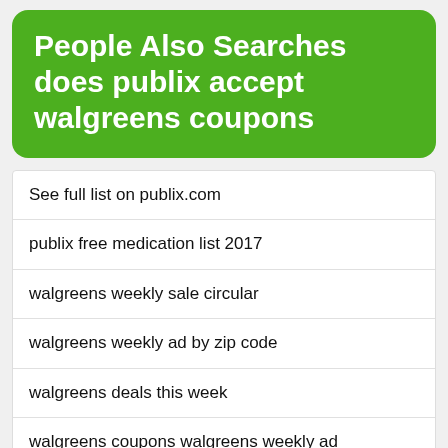People Also Searches does publix accept walgreens coupons
See full list on publix.com
publix free medication list 2017
walgreens weekly sale circular
walgreens weekly ad by zip code
walgreens deals this week
walgreens coupons walgreens weekly ad
walgreens weekly ad and coupons
walgreens products
walgreens warehouse